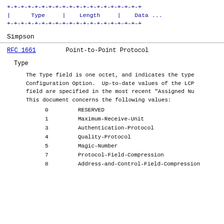[Figure (other): ASCII art diagram showing TLV (Type-Length-Value) packet format with fields: Type | Length | Data ...]
Simpson
RFC 1661                   Point-to-Point Protocol
Type
The Type field is one octet, and indicates the type of Configuration Option.  Up-to-date values of the LCP field are specified in the most recent "Assigned Nu... This document concerns the following values:
0         RESERVED
1         Maximum-Receive-Unit
3         Authentication-Protocol
4         Quality-Protocol
5         Magic-Number
7         Protocol-Field-Compression
8         Address-and-Control-Field-Compression